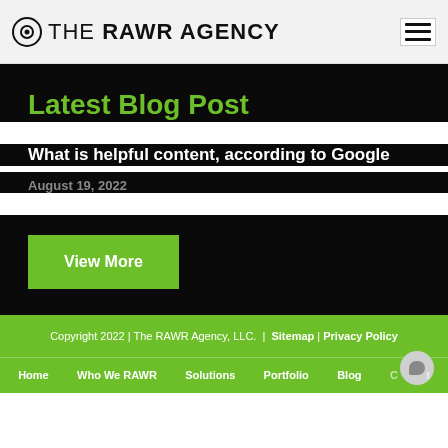THE RAWR AGENCY
Latest Blog Post
What is helpful content, according to Google
August 19, 2022
View More
Copyright 2022 | The RAWR Agency, LLC. | Sitemap | Privacy Policy
Home  Who We RAWR  Solutions  Portfolio  Blog  Contact